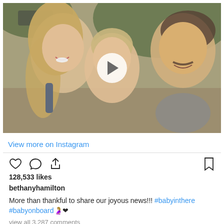[Figure (photo): Instagram video thumbnail showing a family selfie: a blonde woman on the left smiling, a blond toddler in the middle, and a man with a mustache on the right. White play button overlay in the center. Outdoor setting with greenery in background.]
View more on Instagram
128,533 likes
bethanyhamilton
More than thankful to share our joyous news!!! #babyinthere #babyonboard🤰🏼❤
view all 3,287 comments